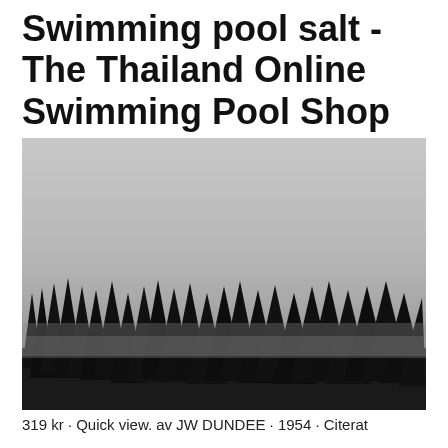Swimming pool salt - The Thailand Online Swimming Pool Shop
[Figure (photo): Black and white photograph of a foggy forest scene with silhouetted conifer trees emerging from thick mist against a grey sky]
319 kr · Quick view. av JW DUNDEE · 1954 · Citerat